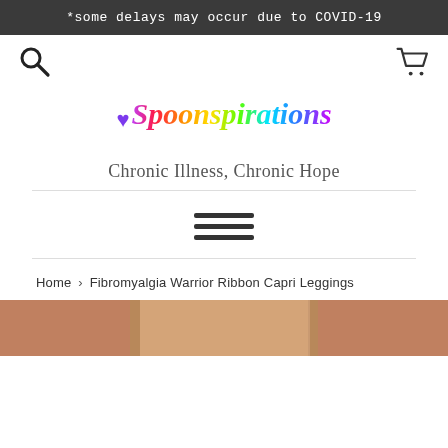*some delays may occur due to COVID-19
[Figure (logo): Search icon (magnifying glass) on the left and shopping cart icon on the right]
[Figure (logo): Spoonspirations logo with rainbow colored italic script text and a purple heart icon]
Chronic Illness, Chronic Hope
[Figure (other): Hamburger menu icon with three horizontal bars]
Home › Fibromyalgia Warrior Ribbon Capri Leggings
[Figure (photo): Partial product photo showing bottom portion of leggings on a person]